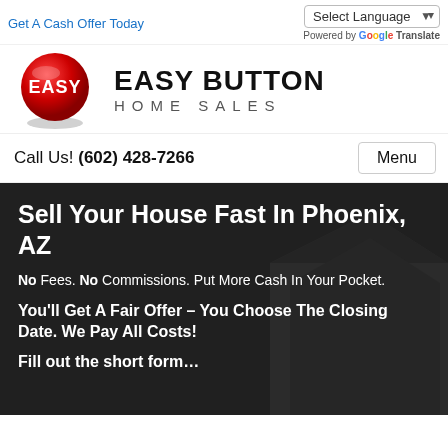Get A Cash Offer Today
[Figure (logo): Easy Button Home Sales logo with red round button and company name]
Call Us! (602) 428-7266
Sell Your House Fast In Phoenix, AZ
No Fees. No Commissions. Put More Cash In Your Pocket.
You'll Get A Fair Offer – You Choose The Closing Date. We Pay All Costs!
Fill out the short form…